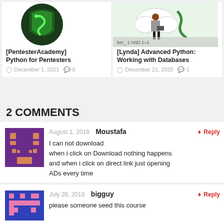[Figure (illustration): Card with dark green shield logo for PentesterAcademy Python for Pentesters course]
[PentesterAcademy] Python for Pentesters
December 1, 2021  0
[Figure (illustration): Card with illustration of person with laptop and cloud for Lynda Advanced Python: Working with Databases course]
[Lynda] Advanced Python: Working with Databases
December 21, 2020  1
2 COMMENTS
[Figure (illustration): Pixel art avatar in purple and orange for user Moustafa]
August 1, 2018  Moustafa  Reply
I can not download when i click on Download nothing happens and when i click on direct link just opening ADs every time
[Figure (illustration): Pixel art avatar in blue and pink for user bigguy]
July 26, 2018  bigguy  Reply
please someone seed this course